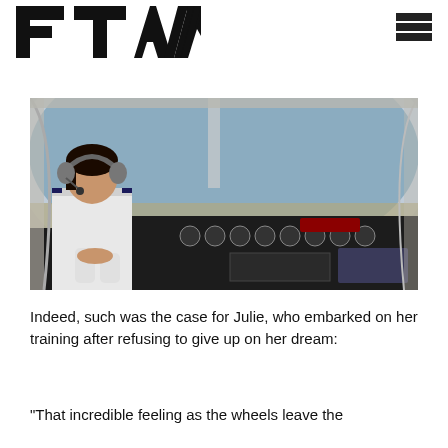FTAM
[Figure (photo): A female pilot wearing headphones and a white uniform shirt sits in the cockpit of a small aircraft, operating controls, with a view of sky and land visible through the windshield.]
Indeed, such was the case for Julie, who embarked on her training after refusing to give up on her dream:
“That incredible feeling as the wheels leave the